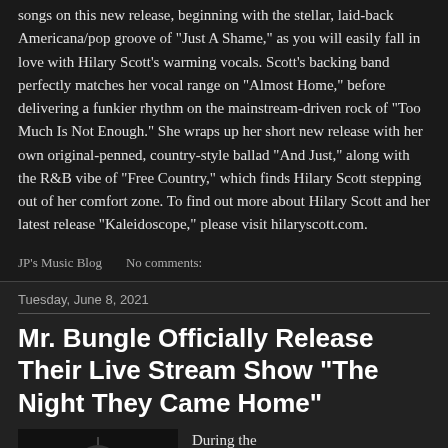songs on this new release, beginning with the stellar, laid-back Americana/pop groove of "Just A Shame," as you will easily fall in love with Hilary Scott's warming vocals. Scott's backing band perfectly matches her vocal range on "Almost Home," before delivering a funkier rhythm on the mainstream-driven rock of "Too Much Is Not Enough." She wraps up her short new release with her own original-penned, country-style ballad "And Just," along with the R&B vibe of "Free Country," which finds Hilary Scott stepping out of her comfort zone. To find out more about Hilary Scott and her latest release "Kaleidoscope," please visit hilaryscott.com.
JP's Music Blog    No comments:
Tuesday, June 8, 2021
Mr. Bungle Officially Release Their Live Stream Show "The Night They Came Home"
During the